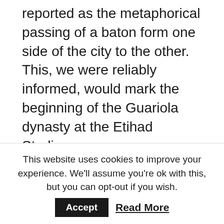reported as the metaphorical passing of a baton form one side of the city to the other. This, we were reliably informed, would mark the beginning of the Guariola dynasty at the Etihad Stadium.
In sixteen second half minutes, however, that illusion fell away with a sense of drama that only professional football can manage. Pogba awoke from his slumber and scored two delightful goals in three minutes to bring United baack from the dead, and with a little over twenty minutes to play Chris Smalling, another player who had been notable largely for his apparent absence during the first half, side-footed a third goal. The celebrations, hubris and
This website uses cookies to improve your experience. We'll assume you're ok with this, but you can opt-out if you wish. Accept Read More